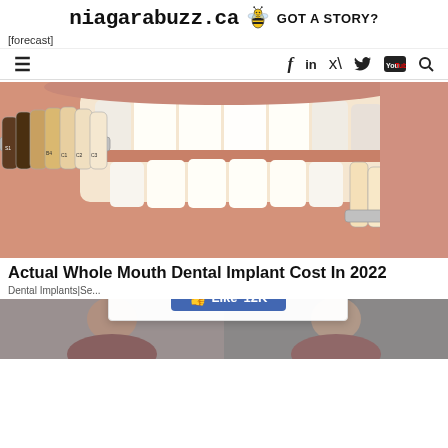niagarabuzz.ca GOT A STORY?
[forecast]
≡  f  in  🐦  You  🔍
[Figure (photo): Close-up of a person smiling showing white teeth with dental shade guide samples in front]
Actual Whole Mouth Dental Implant Cost In 2022
Dental Implants|Se...
Enjoy NiagaraBuzz.ca ? Like us on Facebook! 👍 Like 12K
[Figure (photo): Bottom strip showing partial images of people]